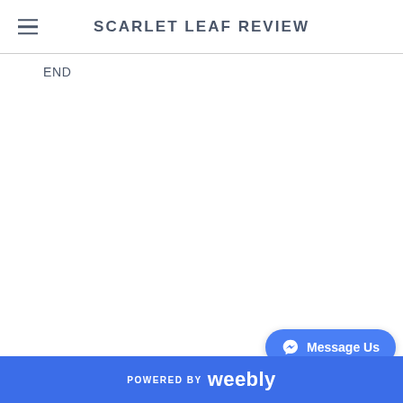SCARLET LEAF REVIEW
END
POWERED BY weebly